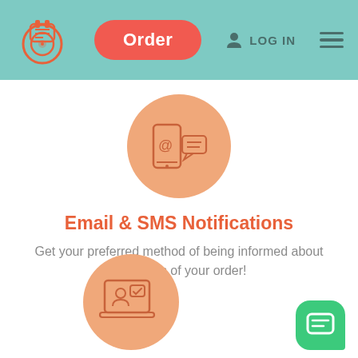Order  LOG IN  [menu]
[Figure (illustration): Orange circle with a smartphone and chat/email icon inside, representing email and SMS notifications]
Email & SMS Notifications
Get your preferred method of being informed about the status of your order!
[Figure (illustration): Orange circle with a laptop showing a person and a checkmark chat bubble, representing online communication]
[Figure (illustration): Green rounded square chat button with a message icon in the bottom right corner]